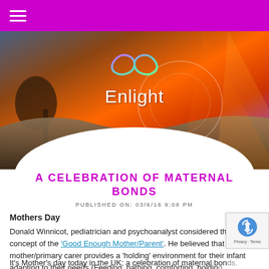Enlight
[Figure (photo): Hero banner with landscape photo (hills, sunset sky with orange/red tones) and Enlight infinity logo with site name overlaid in white. White tear-drop shape at bottom of image.]
A CELEBRATION OF MATERNAL BONDS
PUBLISHED ON: 03/6/16 9:08 PM
Mothers Day
Donald Winnicot, pediatrician and psychoanalyst considered the concept of the 'Good Enough Mother/Parent'. He believed that if a mother/primary carer provides a 'holding' environment for their infant adapting to their needs (Feeding, bathing, comforting, holding) the infant will develop into an autonomous being.
It's Mother's day today in the UK; a celebration of maternal bonds.